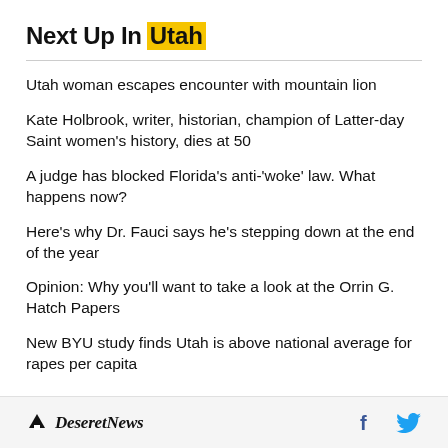Next Up In Utah
Utah woman escapes encounter with mountain lion
Kate Holbrook, writer, historian, champion of Latter-day Saint women's history, dies at 50
A judge has blocked Florida's anti-'woke' law. What happens now?
Here's why Dr. Fauci says he's stepping down at the end of the year
Opinion: Why you'll want to take a look at the Orrin G. Hatch Papers
New BYU study finds Utah is above national average for rapes per capita
Deseret News